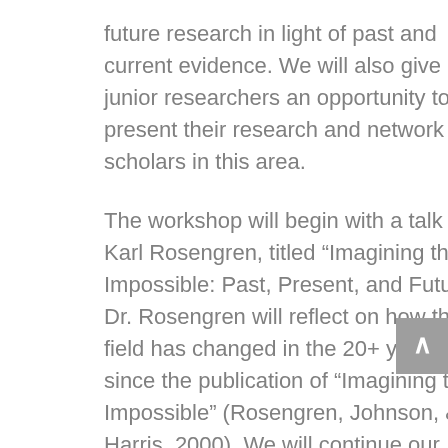future research in light of past and current evidence. We will also give junior researchers an opportunity to present their research and network with scholars in this area.
The workshop will begin with a talk from Karl Rosengren, titled “Imagining the Impossible: Past, Present, and Future.” Dr. Rosengren will reflect on how the field has changed in the 20+ years since the publication of “Imagining the Impossible” (Rosengren, Johnson, & Harris, 2000). We will continue our workshop with two consecutive panels. The speakers in the first panel (Samuel Ronfard, David Menendez, Deena Weisberg) will present research on how children judge unlikely and fantastical phenomena based on the context and/or stimuli and the implications of these